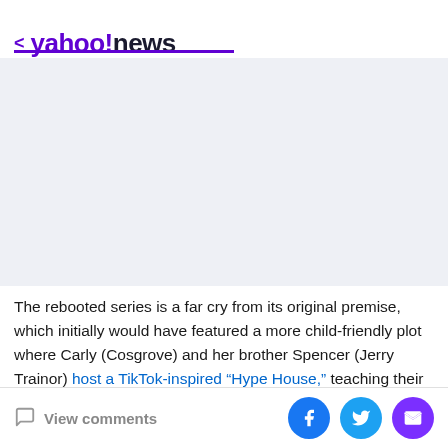< yahoo!news
[Figure (other): Advertisement placeholder area with light blue-grey background]
The rebooted series is a far cry from its original premise, which initially would have featured a more child-friendly plot where Carly (Cosgrove) and her brother Spencer (Jerry Trainor) host a TikTok-inspired “Hype House,” teaching their skills to a new generation of influencers.
View comments | Social share buttons: Facebook, Twitter, Email